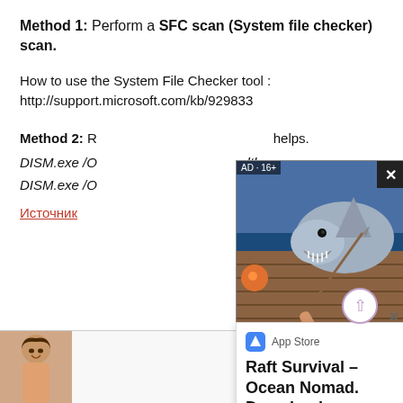Method 1: Perform a SFC scan (System file checker) scan.
How to use the System File Checker tool :
http://support.microsoft.com/kb/929833
Method 2: R... helps.
DISM.exe /O...lth
DISM.exe /O...ealth
Источник
[Figure (screenshot): Advertisement overlay showing a shark survival game image with 'AD · 16+' label and close button]
[Figure (screenshot): App Store panel advertising 'Raft Survival – Ocean Nomad. Download on your iOS!']
[Figure (screenshot): Bottom advertisement banner with a woman's photo and clover ad panel]